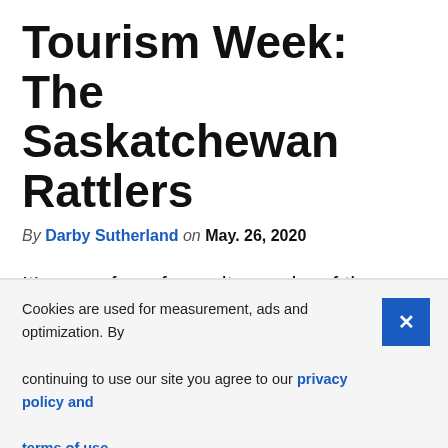Tourism Week: The Saskatchewan Rattlers
By Darby Sutherland on May. 26, 2020
It's one of our favourite weeks of the year! Tourism week! This Tourism week we are working with our partners to show a more holistic view of who they are, and how they support our community! We hope…
Cookies are used for measurement, ads and optimization. By continuing to use our site you agree to our privacy policy and terms of use.